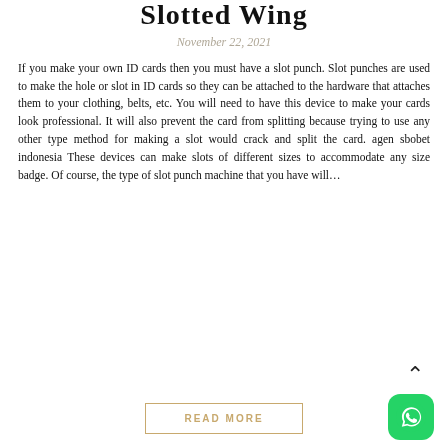Slotted Wing
November 22, 2021
If you make your own ID cards then you must have a slot punch. Slot punches are used to make the hole or slot in ID cards so they can be attached to the hardware that attaches them to your clothing, belts, etc. You will need to have this device to make your cards look professional. It will also prevent the card from splitting because trying to use any other type method for making a slot would crack and split the card. agen sbobet indonesia These devices can make slots of different sizes to accommodate any size badge. Of course, the type of slot punch machine that you have will...
READ MORE